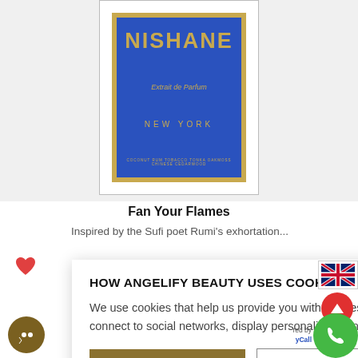[Figure (photo): Nishane Extrait de Parfum New York perfume box — blue box with gold border and gold lettering showing brand name NISHANE, subtitle Extrait de Parfum, city NEW YORK, and notes COCONUT RUM TOBACCO TONKA OAKMOSS CHINESE CEDARWOOD]
Fan Your Flames
Inspired by the Sufi poet Rumi's exhortation...
HOW ANGELIFY BEAUTY USES COOKIES
We use cookies that help us provide you with the best possible shopping experience with us. For example, they allow us to connect to social networks, display personalised content, as well as analyse and improve the operation of our website.
ACCEPT ALL
COOKIE DETAILS